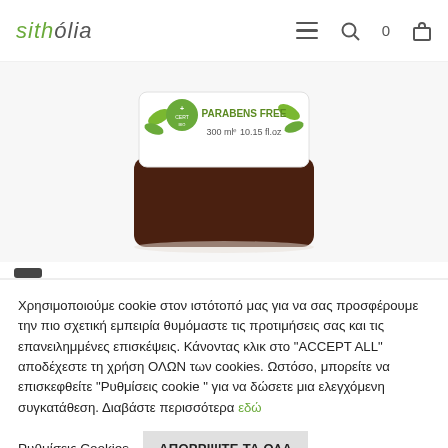sitholia — navigation header with hamburger menu, search icon, cart (0)
[Figure (photo): Product jar with green botanical label reading 'PARABENS FREE 300 ml 10.15 fl oz', dark brown jar body, white background]
Χρησιμοποιούμε cookie στον ιστότοπό μας για να σας προσφέρουμε την πιο σχετική εμπειρία θυμόμαστε τις προτιμήσεις σας και τις επανειλημμένες επισκέψεις. Κάνοντας κλικ στο "ACCEPT ALL" αποδέχεστε τη χρήση ΟΛΩΝ των cookies. Ωστόσο, μπορείτε να επισκεφθείτε "Ρυθμίσεις cookie" για να δώσετε μια ελεγχόμενη συγκατάθεση. Διαβάστε περισσότερα εδώ
Ρυθμίσεις Cookies
ΑΠΟΡΡΙΨΤΕ ΤΑ ΟΛΑ
ΑΠΟΔΟΧΗ ΟΛΩΝ